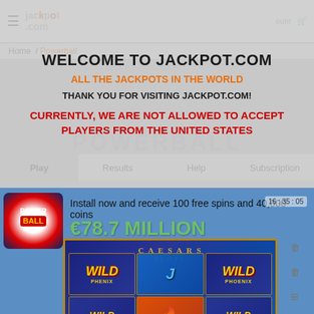WELCOME TO JACKPOT.COM
ALL THE JACKPOTS IN THE WORLD
THANK YOU FOR VISITING JACKPOT.COM!
CURRENTLY, WE ARE NOT ALLOWED TO ACCEPT PLAYERS FROM THE UNITED STATES
Install now and receive 100 free spins and 40,000 coins
€78.7 MILLION
[Figure (screenshot): Caesars Slots casino game screenshot showing WILD PHOENIX slot machine with golden wild symbols on a blue background]